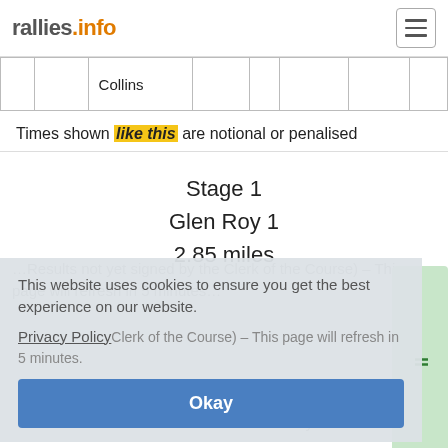rallies.info
|  |  | Collins |  |  |  |  |  |
Times shown like this are notional or penalised
Stage 1
Glen Roy 1
2.85 miles
This website uses cookies to ensure you get the best experience on our website.
Privacy Policy
Okay
Download PDF documents – these will be available on non-event days.